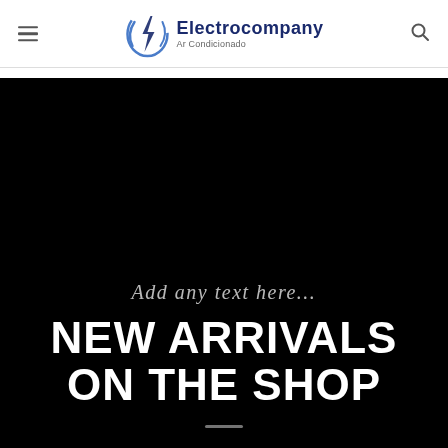Electrocompany Ar Condicionado
[Figure (screenshot): Dark banner image with italic text 'Add any text here...' and bold white text 'NEW ARRIVALS ON THE SHOP']